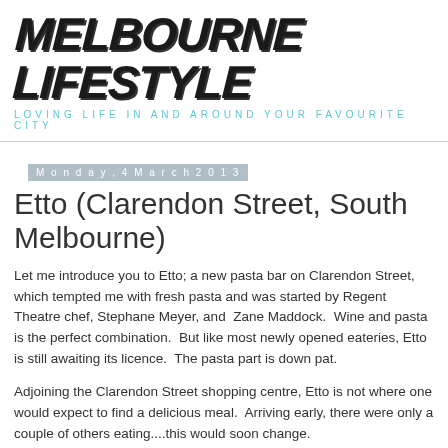MELBOURNE LIFESTYLE
LOVING LIFE IN AND AROUND YOUR FAVOURITE CITY
Monday, 4 March 2013
Etto (Clarendon Street, South Melbourne)
Let me introduce you to Etto; a new pasta bar on Clarendon Street, which tempted me with fresh pasta and was started by Regent Theatre chef, Stephane Meyer, and  Zane Maddock.  Wine and pasta is the perfect combination.  But like most newly opened eateries, Etto is still awaiting its licence.  The pasta part is down pat.
Adjoining the Clarendon Street shopping centre, Etto is not where one would expect to find a delicious meal.  Arriving early, there were only a couple of others eating....this would soon change.